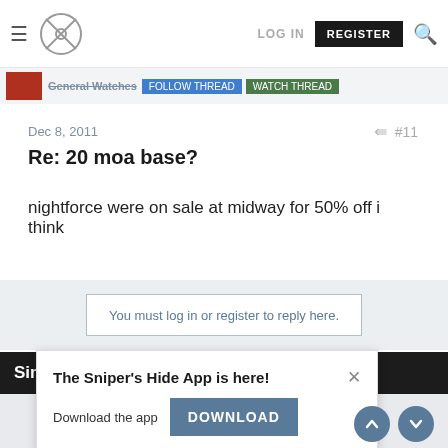LOG IN | REGISTER
General Watches
Dec 8, 2011  #11
Re: 20 moa base?
nightforce were on sale at midway for 50% off i think
You must log in or register to reply here.
Similar threads
The Sniper's Hide App is here! Download the app DOWNLOAD